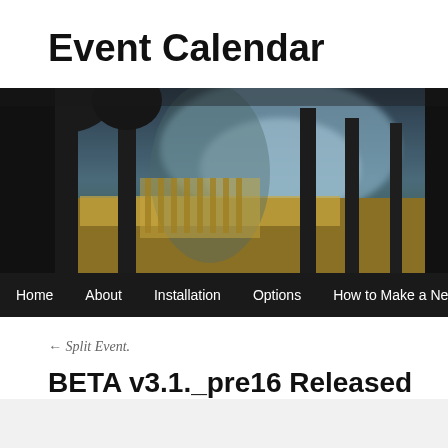Event Calendar
[Figure (photo): Dark atmospheric photo of trees with arched silhouettes against a golden/blue landscape, used as website header banner image. Navigation bar overlaid at bottom with links: Home, About, Installation, Options, How to Make a New Even...]
← Split Event.
BETA v3.1._pre16 Released